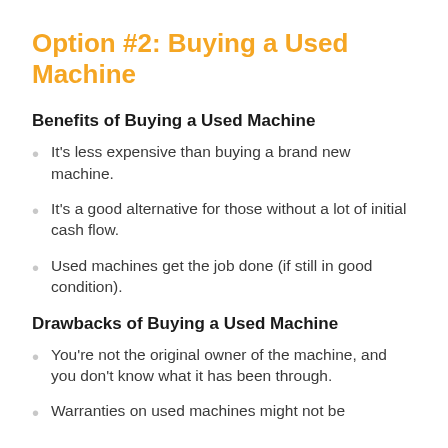Option #2: Buying a Used Machine
Benefits of Buying a Used Machine
It's less expensive than buying a brand new machine.
It's a good alternative for those without a lot of initial cash flow.
Used machines get the job done (if still in good condition).
Drawbacks of Buying a Used Machine
You're not the original owner of the machine, and you don't know what it has been through.
Warranties on used machines might not be